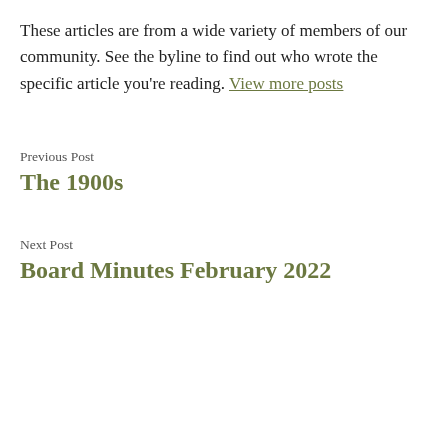These articles are from a wide variety of members of our community. See the byline to find out who wrote the specific article you're reading. View more posts
Previous Post
The 1900s
Next Post
Board Minutes February 2022